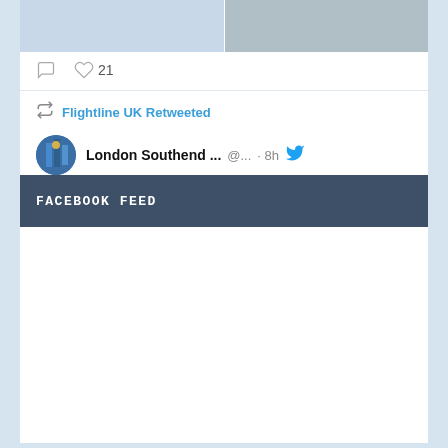[Figure (screenshot): Two airplane images side by side in a tweet]
21
Flightline UK Retweeted
London Southend ...  @...  · 8h
So here you go, Sunday's proposed
FACEBOOK FEED